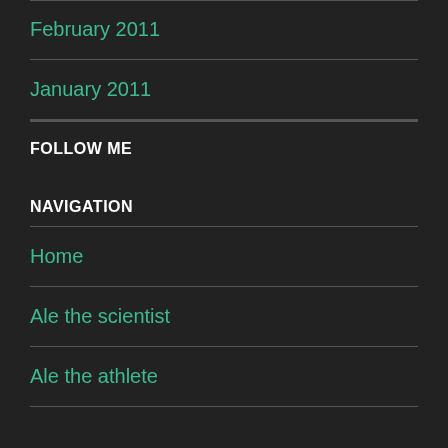February 2011
January 2011
FOLLOW ME
NAVIGATION
Home
Ale the scientist
Ale the athlete